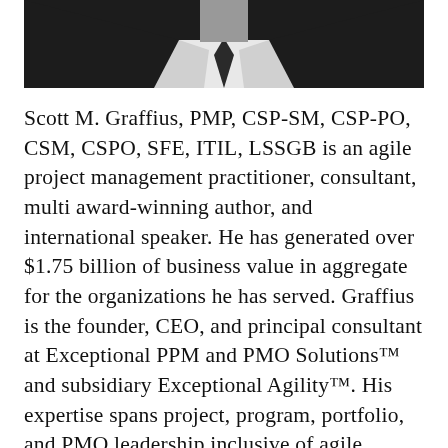[Figure (photo): Black and white photo of a man in a dark suit and tie, cropped to show neck/collar area upward, upper portion of the page]
Scott M. Graffius, PMP, CSP-SM, CSP-PO, CSM, CSPO, SFE, ITIL, LSSGB is an agile project management practitioner, consultant, multi award-winning author, and international speaker. He has generated over $1.75 billion of business value in aggregate for the organizations he has served. Graffius is the founder, CEO, and principal consultant at Exceptional PPM and PMO Solutions™ and subsidiary Exceptional Agility™. His expertise spans project, program, portfolio, and PMO leadership inclusive of agile, traditional, and hybrid approaches. Content from his books (Agile Scrum and Agile Transformation), workshops, speaking